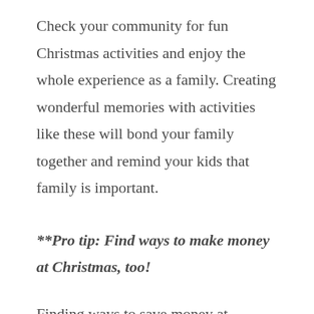Check your community for fun Christmas activities and enjoy the whole experience as a family. Creating wonderful memories with activities like these will bond your family together and remind your kids that family is important.
**Pro tip: Find ways to make money at Christmas, too!
Finding ways to save money at Christmas isn't the only way to have an awesome debt-free or less stressful Christmas! Making